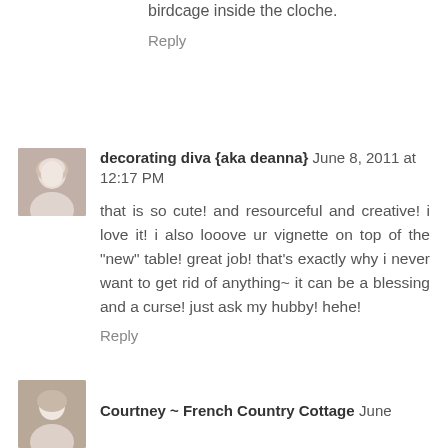birdcage inside the cloche.
Reply
decorating diva {aka deanna} June 8, 2011 at 12:17 PM
that is so cute! and resourceful and creative! i love it! i also looove ur vignette on top of the "new" table! great job! that's exactly why i never want to get rid of anything~ it can be a blessing and a curse! just ask my hubby! hehe!
Reply
Courtney ~ French Country Cottage June